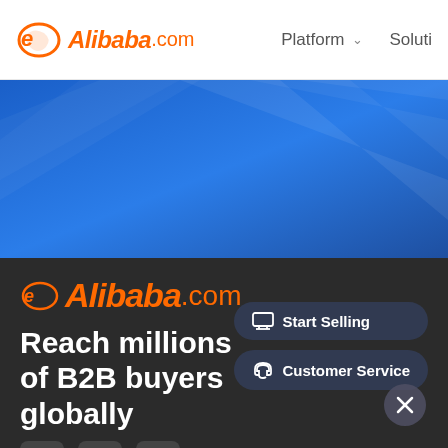Alibaba.com | Platform | Solutions
[Figure (screenshot): Blue geometric banner background with diagonal light streak patterns on a blue gradient background]
[Figure (logo): Alibaba.com logo in orange on dark background]
Reach millions of B2B buyers globally
[Figure (infographic): Start Selling button popup with monitor/display icon]
[Figure (infographic): Customer Service button popup with headset icon]
[Figure (infographic): Social media icons: Facebook, Instagram, LinkedIn on dark background]
[Figure (infographic): Close (X) button circle in bottom right corner]